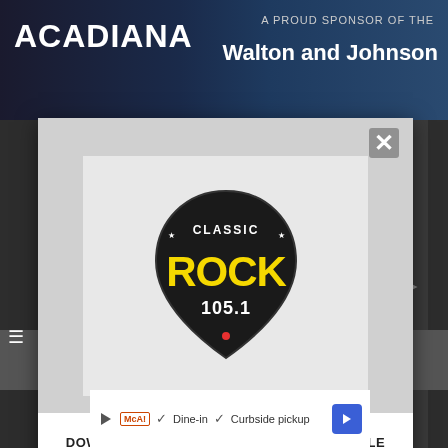[Figure (screenshot): Website screenshot background showing Acadiana radio station page with dark header, 'A PROUD SPONSOR OF THE Walton and Johnson' text on right]
[Figure (logo): Classic Rock 105.1 guitar pick shaped logo with yellow 'ROCK' text and white '105.1' on dark background]
DOWNLOAD THE CLASSIC ROCK 105.1 MOBILE APP
GET OUR FREE MOBILE APP
Also listen on:  amazon alexa
[Figure (infographic): Bottom advertisement banner showing play button icon, McAlisters logo, checkmarks with 'Dine-in' and 'Curbside pickup' text, and blue navigation arrow]